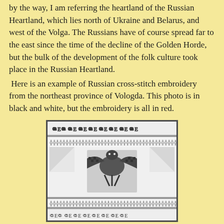by the way, I am referring the heartland of the Russian Heartland, which lies north of Ukraine and Belarus, and west of the Volga. The Russians have of course spread far to the east since the time of the decline of the Golden Horde, but the bulk of the development of the folk culture took place in the Russian Heartland.
Here is an example of Russian cross-stitch embroidery from the northeast province of Vologda. This photo is in black and white, but the embroidery is all in red.
[Figure (photo): Black and white photograph of Russian cross-stitch embroidery from the northeast province of Vologda, featuring repeating bird/eagle motifs with geometric patterns arranged in horizontal bands.]
Here is an example of the type of embroidery which in the English speaking world is known as blackwork. It was done in black in Spain, whence it was introduced into England. In Russia it is primarily done in red, of course. Similar embroidery is done around Poltava in Ukraine, but the motifs are different. Again an